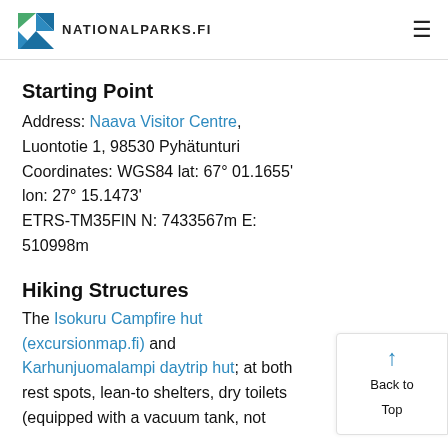NATIONALPARKS.FI
Starting Point
Address: Naava Visitor Centre, Luontotie 1, 98530 Pyhätunturi Coordinates: WGS84 lat: 67° 01.1655' lon: 27° 15.1473' ETRS-TM35FIN N: 7433567m E: 510998m
Hiking Structures
The Isokuru Campfire hut (excursionmap.fi) and Karhunjuomalampi daytrip hut; at both rest spots, lean-to shelters, dry toilets (equipped with a vacuum tank, not